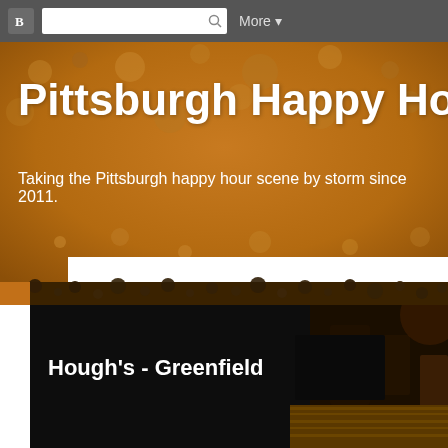Blogger navigation bar with search and More button
Pittsburgh Happy Hour
Taking the Pittsburgh happy hour scene by storm since 2011.
[Figure (photo): Blog post area showing dark interior photo of Hough's - Greenfield bar]
Hough's - Greenfield